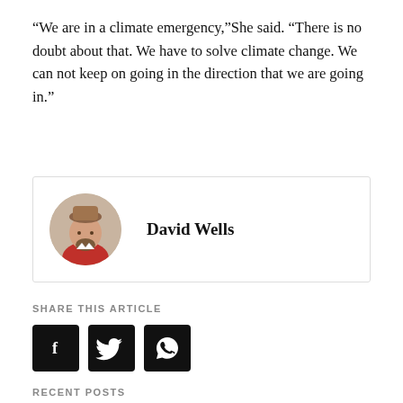“We are in a climate emergency,”She said. “There is no doubt about that. We have to solve climate change. We can not keep on going in the direction that we are going in.”
[Figure (illustration): Author card with circular photo of David Wells (man with beard and hat) and bold name text 'David Wells']
SHARE THIS ARTICLE
[Figure (infographic): Three black square social share buttons: Facebook (f), Twitter (bird), WhatsApp (phone)]
RECENT POSTS